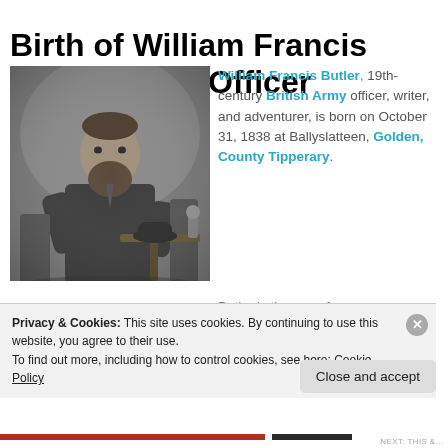Birth of William Francis Butler, Army Officer & Writer
[Figure (photo): Black and white photograph of William Francis Butler, a 19th-century man with a beard, seated in a chair near a table with a bowler hat and a small statue.]
William Francis Butler, 19th-century British Army officer, writer, and adventurer, is born on October 31, 1838 at Ballyslatteen, Golden, County Tipperary.
Butler is the son of
Privacy & Cookies: This site uses cookies. By continuing to use this website, you agree to their use.
To find out more, including how to control cookies, see here: Cookie Policy
Close and accept